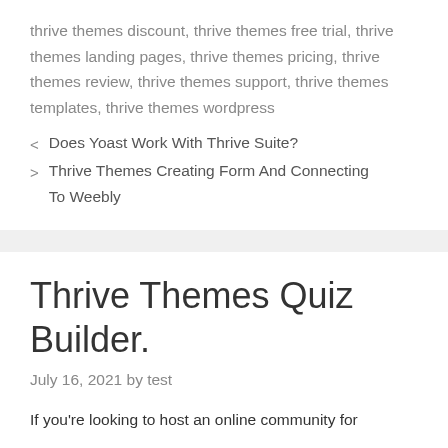thrive themes discount, thrive themes free trial, thrive themes landing pages, thrive themes pricing, thrive themes review, thrive themes support, thrive themes templates, thrive themes wordpress
< Does Yoast Work With Thrive Suite?
> Thrive Themes Creating Form And Connecting To Weebly
Thrive Themes Quiz Builder.
July 16, 2021 by test
If you're looking to host an online community for